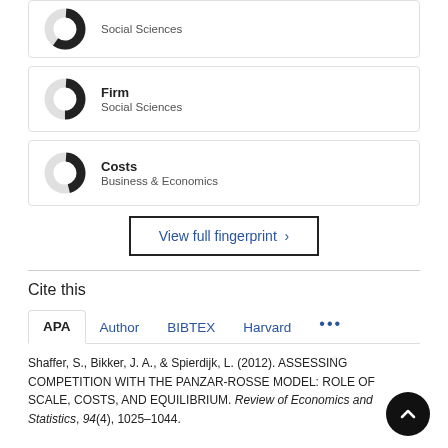[Figure (donut-chart): Partial donut chart icon for 'Social Sciences' fingerprint item (top, partially cropped)]
[Figure (donut-chart): Donut chart icon for 'Firm / Social Sciences' fingerprint item]
[Figure (donut-chart): Donut chart icon for 'Costs / Business & Economics' fingerprint item]
View full fingerprint >
Cite this
APA  Author  BIBTEX  Harvard  ...
Shaffer, S., Bikker, J. A., & Spierdijk, L. (2012). ASSESSING COMPETITION WITH THE PANZAR-ROSSE MODEL: ROLE OF SCALE, COSTS, AND EQUILIBRIUM. Review of Economics and Statistics, 94(4), 1025-1044.